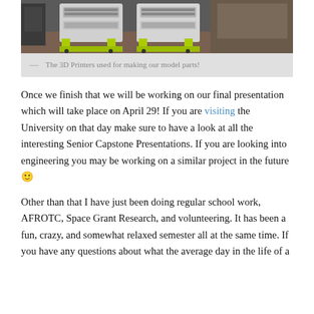[Figure (photo): Photo of 3D printers with lime green stands/frames in a room]
— The 3D Printers used for making our model parts!
Once we finish that we will be working on our final presentation which will take place on April 29! If you are visiting the University on that day make sure to have a look at all the interesting Senior Capstone Presentations. If you are looking into engineering you may be working on a similar project in the future 🙂
Other than that I have just been doing regular school work, AFROTC, Space Grant Research, and volunteering. It has been a fun, crazy, and somewhat relaxed semester all at the same time. If you have any questions about what the average day in the life of a